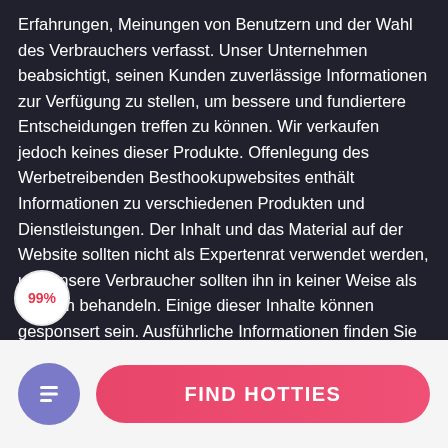Erfahrungen, Meinungen von Benutzern und der Wahl des Verbrauchers verfasst. Unser Unternehmen beabsichtigt, seinen Kunden zuverlässige Informationen zur Verfügung zu stellen, um bessere und fundiertere Entscheidungen treffen zu können. Wir verkaufen jedoch keines dieser Produkte. Offenlegung des Werbetreibenden Besthookupwebsites enthält Informationen zu verschiedenen Produkten und Dienstleistungen. Der Inhalt und das Material auf der Website sollten nicht als Expertenrat verwendet werden, und unsere Verbraucher sollten ihn in keiner Weise als solchen behandeln. Einige dieser Inhalte können gesponsert sein. Ausführliche Informationen finden Sie in der Offenlegung des Werbetreibenden.
[Figure (other): Scroll-up button (white circle with upward chevron) and a 99% badge (white circle with red text) overlaid on the text area]
[Figure (other): Bottom navigation bar with a purple circular icon (document/list icon) and a pink rounded 'FIND HOTTIES' button]